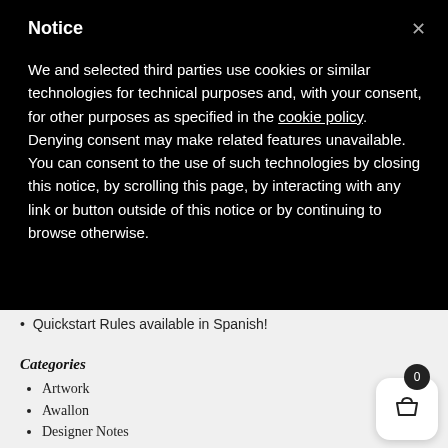Notice
We and selected third parties use cookies or similar technologies for technical purposes and, with your consent, for other purposes as specified in the cookie policy. Denying consent may make related features unavailable. You can consent to the use of such technologies by closing this notice, by scrolling this page, by interacting with any link or button outside of this notice or by continuing to browse otherwise.
Quickstart Rules available in Spanish!
Categories
Artwork
Awallon
Designer Notes
Halloween
Holiday Special
ITa